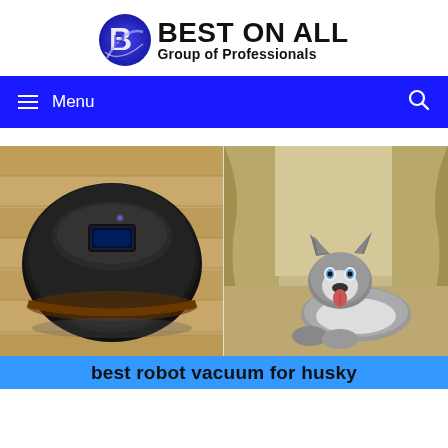[Figure (logo): Best On All Group of Professionals logo with stylized blue B icon and bold text]
≡ Menu
[Figure (photo): Split image: left side shows a black robot vacuum cleaner on hardwood floor; right side shows a Husky dog lying on floor near curtains]
best robot vacuum for husky